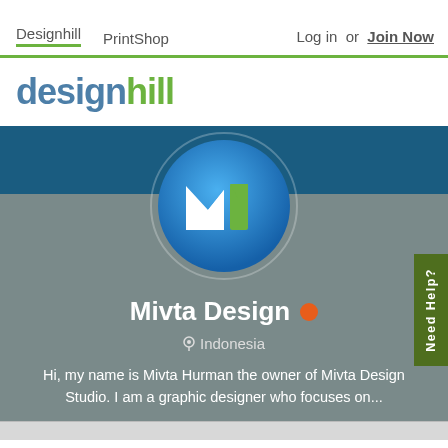Designhill  PrintShop  Log in or Join Now
[Figure (logo): Designhill logo with 'design' in blue and 'hill' in green]
[Figure (illustration): Dark blue banner background strip]
[Figure (logo): Mivta Design circular logo: blue gradient circle with white M arrow and green numeral 1]
Mivta Design
Indonesia
Hi, my name is Mivta Hurman the owner of Mivta Design Studio. I am a graphic designer who focuses on...